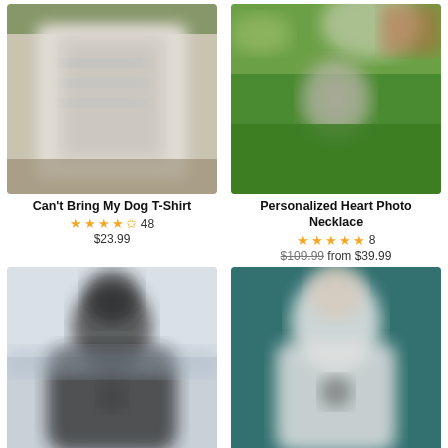[Figure (photo): Blurred product photo of a T-shirt in a plastic bag]
Can't Bring My Dog T-Shirt
★★★★½ 48
$23.99
[Figure (photo): Blurred photo of a heart-shaped photo necklace with outdoor background]
Personalized Heart Photo Necklace
★★★★★ 8
$109.99 from $39.99
[Figure (photo): Blurred photo of a person in a dark hoodie outdoors]
[Figure (photo): Blurred photo of a person in a white hoodie with teal background]